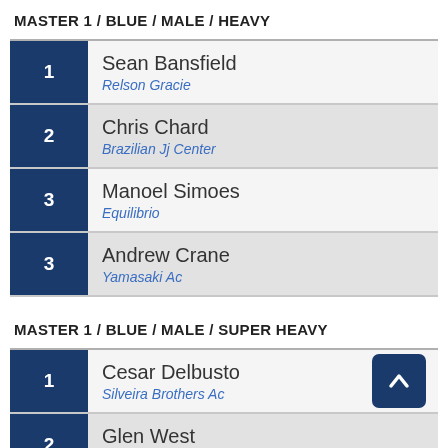MASTER 1 / BLUE / MALE / HEAVY
| Rank | Name | Gym |
| --- | --- | --- |
| 1 | Sean Bansfield | Relson Gracie |
| 2 | Chris Chard | Brazilian Jj Center |
| 3 | Manoel Simoes | Equilibrio |
| 3 | Andrew Crane | Yamasaki Ac |
MASTER 1 / BLUE / MALE / SUPER HEAVY
| Rank | Name | Gym |
| --- | --- | --- |
| 1 | Cesar Delbusto | Silveira Brothers Ac |
| 2 | Glen West | House Of Judo |